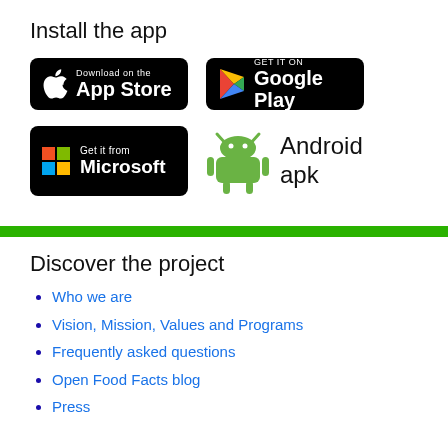Install the app
[Figure (logo): App Store download badge (black rounded rectangle with Apple logo and 'Download on the App Store' text)]
[Figure (logo): Google Play badge (black rounded rectangle with Google Play triangle logo and 'GET IT ON Google Play' text)]
[Figure (logo): Microsoft Store badge (black rounded rectangle with Windows logo and 'Get it from Microsoft' text)]
[Figure (logo): Android APK badge (green Android robot icon with 'Android apk' text)]
Discover the project
Who we are
Vision, Mission, Values and Programs
Frequently asked questions
Open Food Facts blog
Press